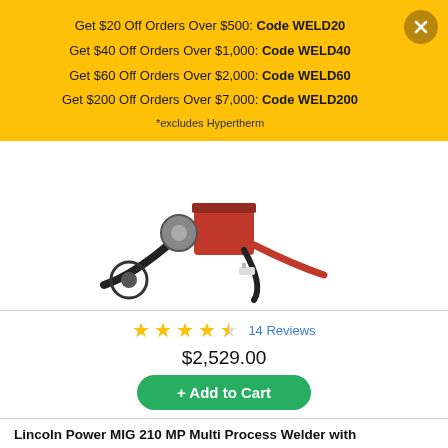Get $20 Off Orders Over $500: Code WELD20
Get $40 Off Orders Over $1,000: Code WELD40
Get $60 Off Orders Over $2,000: Code WELD60
Get $200 Off Orders Over $7,000: Code WELD200
*excludes Hypertherm
[Figure (photo): Lincoln Power MIG 210 MP Multi Process Welder with accessories including cables, torch, and components laid out]
14 Reviews
$2,529.00
+ Add to Cart
Add to List
Lincoln Power MIG 210 MP Multi Process Welder with